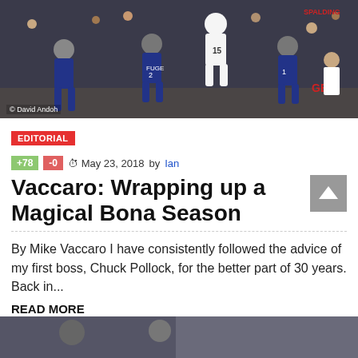[Figure (photo): Basketball game action photo showing a player in white jersey number 15 jumping among players in dark navy uniforms, with crowd in background. Photo credit: © David Andoh]
EDITORIAL
+78  -0  May 23, 2018 by Ian
Vaccaro: Wrapping up a Magical Bona Season
By Mike Vaccaro I have consistently followed the advice of my first boss, Chuck Pollock, for the better part of 30 years. Back in...
READ MORE
[Figure (photo): Partial view of another basketball-related photo at the bottom of the page]